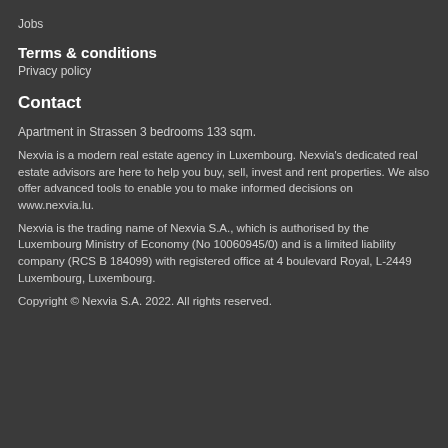Jobs
Terms & conditions
Privacy policy
Contact
Apartment in Strassen 3 bedrooms 133 sqm.
Nexvia is a modern real estate agency in Luxembourg. Nexvia's dedicated real estate advisors are here to help you buy, sell, invest and rent properties. We also offer advanced tools to enable you to make informed decisions on www.nexvia.lu.
Nexvia is the trading name of Nexvia S.A., which is authorised by the Luxembourg Ministry of Economy (No 10060945/0) and is a limited liability company (RCS B 184099) with registered office at 4 boulevard Royal, L-2449 Luxembourg, Luxembourg.
Copyright © Nexvia S.A. 2022. All rights reserved.